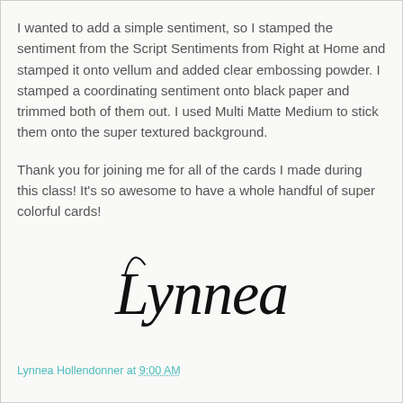I wanted to add a simple sentiment, so I stamped the sentiment from the Script Sentiments from Right at Home and stamped it onto vellum and added clear embossing powder. I stamped a coordinating sentiment onto black paper and trimmed both of them out. I used Multi Matte Medium to stick them onto the super textured background.
Thank you for joining me for all of the cards I made during this class! It's so awesome to have a whole handful of super colorful cards!
[Figure (illustration): Handwritten cursive signature reading 'Lynnea']
Lynnea Hollendonner at 9:00 AM